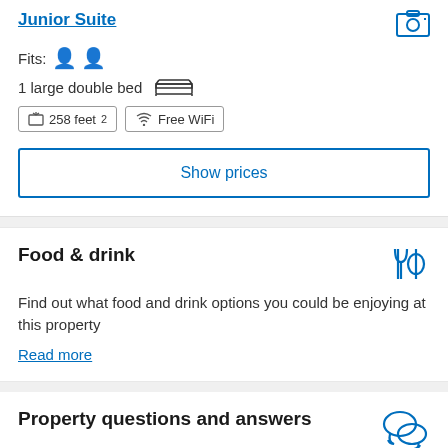Junior Suite
Fits: 2 persons
1 large double bed
258 feet²  Free WiFi
Show prices
Food & drink
Find out what food and drink options you could be enjoying at this property
Read more
Property questions and answers
Find more information about the property in the questions and answers. If you can't find what you're looking for you can also send your own questions to the property.